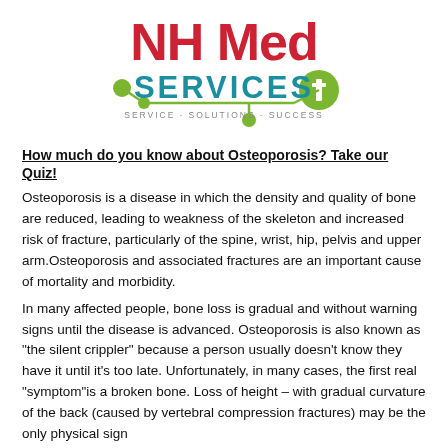[Figure (logo): NH Med Services logo with red 'NH Med' text, teal 'SERVICES' text, green node/line graphic, white cross in green circle, and tagline 'SERVICE · SOLUTIONS · SUCCESS']
How much do you know about Osteoporosis? Take our Quiz!
Osteoporosis is a disease in which the density and quality of bone are reduced, leading to weakness of the skeleton and increased risk of fracture, particularly of the spine, wrist, hip, pelvis and upper arm.Osteoporosis and associated fractures are an important cause of mortality and morbidity.
In many affected people, bone loss is gradual and without warning signs until the disease is advanced. Osteoporosis is also known as "the silent crippler" because a person usually doesn't know they have it until it's too late. Unfortunately, in many cases, the first real "symptom"is a broken bone. Loss of height – with gradual curvature of the back (caused by vertebral compression fractures) may be the only physical sign